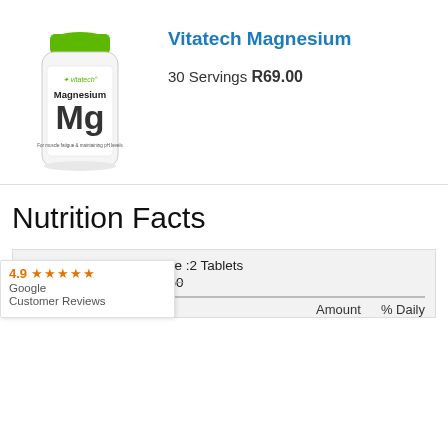[Figure (photo): Vitatech Magnesium supplement bottle with green cap, white label showing 'Magnesium Mg']
Vitatech Magnesium
30 Servings R69.00
Nutrition Facts
|  | Amount | % Daily |
| --- | --- | --- |
| Serving Size: Serving Size :2 Tablets |  |  |
| Servings per Container: 50 |  |  |
[Figure (other): Google Customer Reviews widget showing 4.9 stars rating]